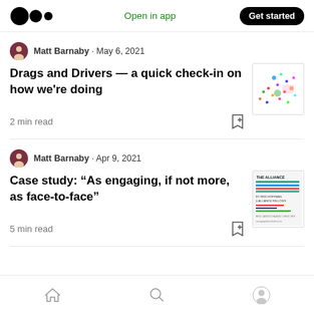Medium logo | Open in app | Get started
Matt Barnaby · May 6, 2021
Drags and Drivers — a quick check-in on how we're doing
2 min read
[Figure (scatter-plot): Colorful scatter plot chart thumbnail]
Matt Barnaby · Apr 9, 2021
Case study: "As engaging, if not more, as face-to-face"
5 min read
[Figure (other): The Alliance book cover thumbnail]
Home | Search | Profile